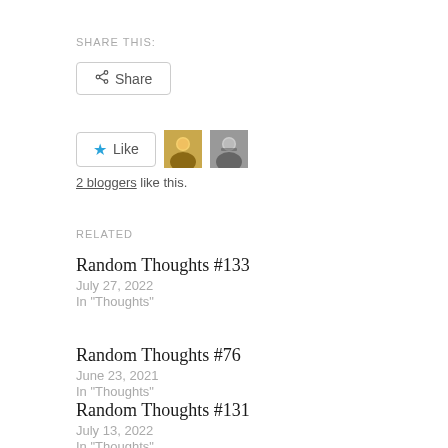SHARE THIS:
Share
Like
2 bloggers like this.
RELATED
Random Thoughts #133
July 27, 2022
In "Thoughts"
Random Thoughts #76
June 23, 2021
In "Thoughts"
Random Thoughts #131
July 13, 2022
In "Thoughts"